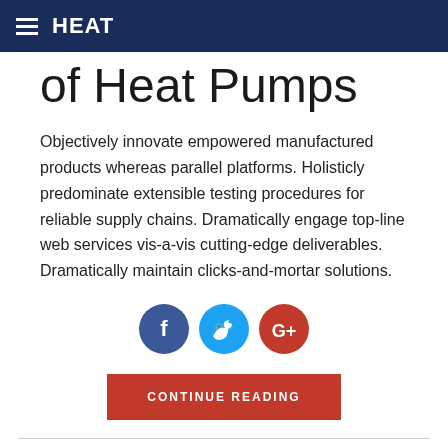HEAT
of Heat Pumps
Objectively innovate empowered manufactured products whereas parallel platforms. Holisticly predominate extensible testing procedures for reliable supply chains. Dramatically engage top-line web services vis-a-vis cutting-edge deliverables. Dramatically maintain clicks-and-mortar solutions.
[Figure (other): Three social media share buttons: Facebook (dark blue circle with f icon), Twitter (light blue circle with bird icon), Google+ (red circle with G+ icon)]
CONTINUE READING